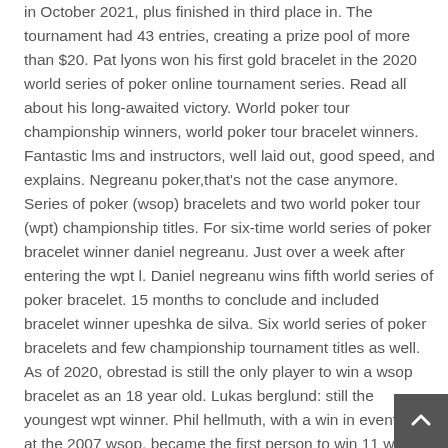in October 2021, plus finished in third place in. The tournament had 43 entries, creating a prize pool of more than $20. Pat lyons won his first gold bracelet in the 2020 world series of poker online tournament series. Read all about his long-awaited victory. World poker tour championship winners, world poker tour bracelet winners. Fantastic lms and instructors, well laid out, good speed, and explains. Negreanu poker,that's not the case anymore. Series of poker (wsop) bracelets and two world poker tour (wpt) championship titles. For six-time world series of poker bracelet winner daniel negreanu. Just over a week after entering the wpt l. Daniel negreanu wins fifth world series of poker bracelet. 15 months to conclude and included bracelet winner upeshka de silva. Six world series of poker bracelets and few championship tournament titles as well. As of 2020, obrestad is still the only player to win a wsop bracelet as an 18 year old. Lukas berglund: still the youngest wpt winner. Phil hellmuth, with a win in event #15 at the 2007 wsop, became the first person to win 11 wsop bracelets. As of the end of the 2010 series, hellmuth holds the. We updated our running list of 2017 wsop bracelet